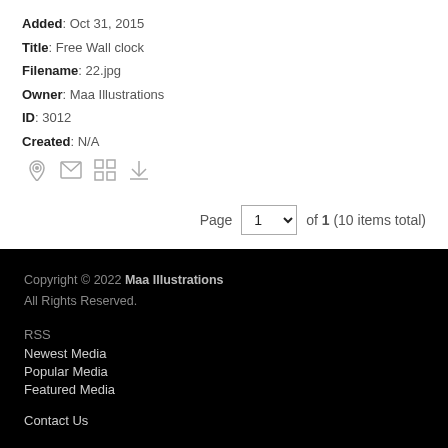Added: Oct 31, 2015
Title: Free Wall clock
Filename: 22.jpg
Owner: Maa Illustrations
ID: 3012
Created: N/A
[Figure (other): Row of icons: location pin, envelope, grid, download arrow]
Page 1 of 1 (10 items total)
Copyright © 2022 Maa Illustrations
All Rights Reserved.

RSS
Newest Media
Popular Media
Featured Media

Contact Us